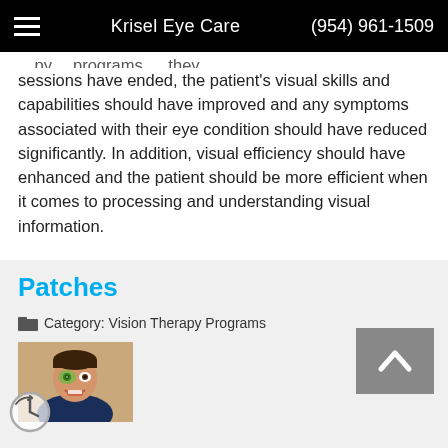Krisel Eye Care  (954) 961-1509
sessions have ended, the patient's visual skills and capabilities should have improved and any symptoms associated with their eye condition should have reduced significantly. In addition, visual efficiency should have enhanced and the patient should be more efficient when it comes to processing and understanding visual information.
Patches
Category: Vision Therapy Programs
[Figure (photo): Young smiling boy with a decorative eye patch over his left eye]
[Figure (other): Back to top arrow button (upward chevron on gray background)]